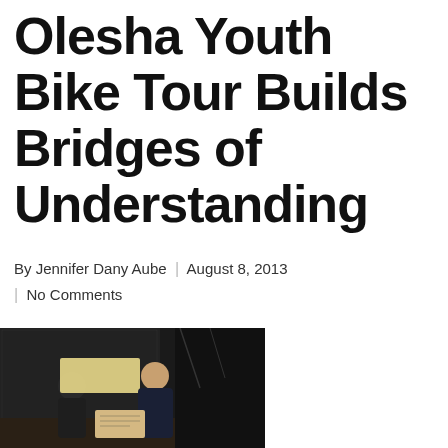Olesha Youth Bike Tour Builds Bridges of Understanding
By Jennifer Dany Aube  |  August 8, 2013  |  No Comments
[Figure (photo): Two people on a dark stage, one holding a yellow cloth and another holding what appears to be a printed item, with a spotlight visible in background]